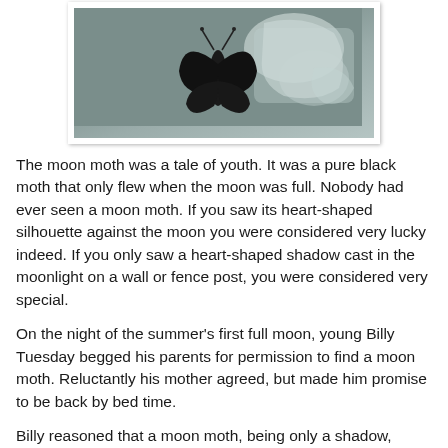[Figure (photo): A close-up photograph of a dark moth or moth silhouette against a mottled, peeling wall surface in grey-blue tones, framed with a white border.]
The moon moth was a tale of youth. It was a pure black moth that only flew when the moon was full. Nobody had ever seen a moon moth. If you saw its heart-shaped silhouette against the moon you were considered very lucky indeed. If you only saw a heart-shaped shadow cast in the moonlight on a wall or fence post, you were considered very special.
On the night of the summer's first full moon, young Billy Tuesday begged his parents for permission to find a moon moth. Reluctantly his mother agreed, but made him promise to be back by bed time.
Billy reasoned that a moon moth, being only a shadow, could only be captured using a shadow. He found a wide oak tree, well lit by the full moon. Using two sticks and a rock he arranged a trap. The shadow of the long stick was cast horizontally across the tree trunk. Billy sat back and waited.